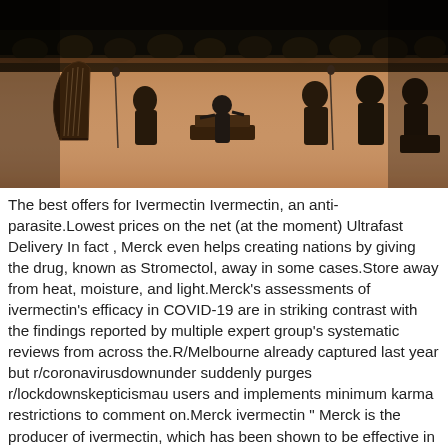[Figure (photo): Screenshot of an orchestra stage scene, showing musicians seated with instruments including a harp on the left, a conductor's podium in the center, microphone stands, and audience seating in the background. The stage floor is a warm wooden color.]
The best offers for Ivermectin Ivermectin, an anti-parasite.Lowest prices on the net (at the moment) Ultrafast Delivery In fact , Merck even helps creating nations by giving the drug, known as Stromectol, away in some cases.Store away from heat, moisture, and light.Merck's assessments of ivermectin's efficacy in COVID-19 are in striking contrast with the findings reported by multiple expert group's systematic reviews from across the.R/Melbourne already captured last year but r/coronavirusdownunder suddenly purges r/lockdownskepticismau users and implements minimum karma restrictions to comment on.Merck ivermectin " Merck is the producer of ivermectin, which has been shown to be effective in an least 65 controlled studies and 32 randomized controlled tri to fight COVID-19 as a preventative and early- and late-stage